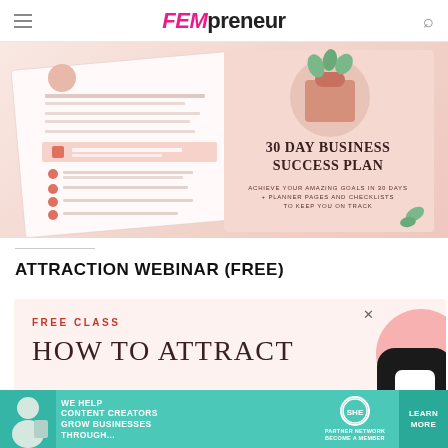FEMpreneur
[Figure (photo): 30 Day Business Success Plan planner book with pink and rose gold cover, alongside an open planner page with text about the planner contents. Background is soft pink/peach.]
ATTRACTION WEBINAR (FREE)
[Figure (screenshot): Pink card showing FREE CLASS header and 'HOW TO ATTRACT' text in serif font, with a pink circle element and a chat bubble widget partially visible on the right.]
[Figure (infographic): Advertisement banner: We help content creators grow businesses through... SHE Partner Network Become a Member. Learn More button.]